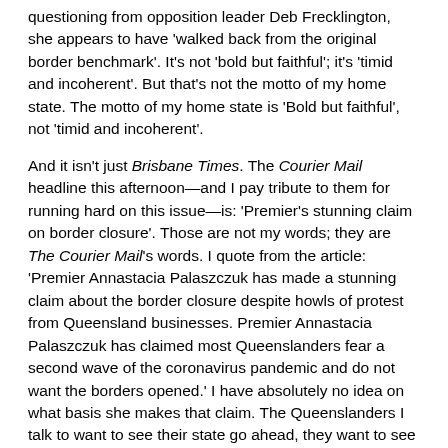questioning from opposition leader Deb Frecklington, she appears to have 'walked back from the original border benchmark'. It's not 'bold but faithful'; it's 'timid and incoherent'. But that's not the motto of my home state. The motto of my home state is 'Bold but faithful', not 'timid and incoherent'.
And it isn't just Brisbane Times. The Courier Mail headline this afternoon—and I pay tribute to them for running hard on this issue—is: 'Premier's stunning claim on border closure'. Those are not my words; they are The Courier Mail's words. I quote from the article: 'Premier Annastacia Palaszczuk has made a stunning claim about the border closure despite howls of protest from Queensland businesses. Premier Annastacia Palaszczuk has claimed most Queenslanders fear a second wave of the coronavirus pandemic and do not want the borders opened.' I have absolutely no idea on what basis she makes that claim. The Queenslanders I talk to want to see their state go ahead, they want to see that state border opened; they want to see the thousands and thousands of Queenslanders employed in the tourism industry have an opportunity to go back to work. But Premier Palaszczuk seems to be backsliding.
My good friend the Surfers Paradise MP John-Paul Langbroek said the Premier had indicated the border won't open until there is no active transmission at all. What sort of standard is that! And, as he says, is it to